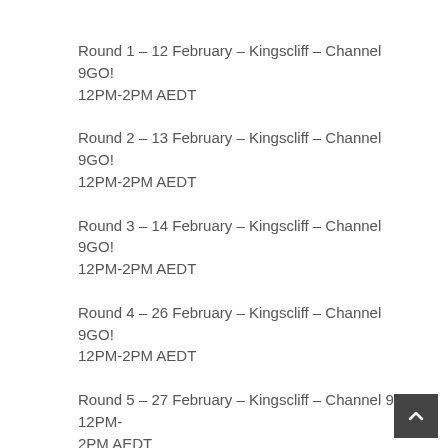Round 1 – 12 February – Kingscliff – Channel 9GO! 12PM-2PM AEDT
Round 2 – 13 February – Kingscliff – Channel 9GO! 12PM-2PM AEDT
Round 3 – 14 February – Kingscliff – Channel 9GO! 12PM-2PM AEDT
Round 4 – 26 February – Kingscliff – Channel 9GO! 12PM-2PM AEDT
Round 5 – 27 February – Kingscliff – Channel 9 12PM-2PM AEDT
Round 6 – 28 February – Kingscliff – Channel 9 12PM-2PM AEDT